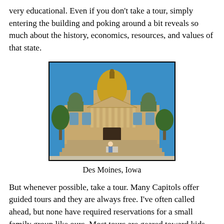very educational. Even if you don't take a tour, simply entering the building and poking around a bit reveals so much about the history, economics, resources, and values of that state.
[Figure (photo): Photograph of the Iowa State Capitol building in Des Moines, Iowa. A grand neoclassical building with a large gold dome in the center, flanked by smaller domes on each side. Wide steps lead up to the entrance with tall columns. A person sits at a table at the base of the stairs.]
Des Moines, Iowa
But whenever possible, take a tour. Many Capitols offer guided tours and they are always free. I've often called ahead, but none have required reservations for a small family group like ours. Most tours are geared toward kids 4th grade and up. If your kids are 10+, definitely take guided tours whenever they're offered. They often take you into parts of the building that are off-limits without a guide.